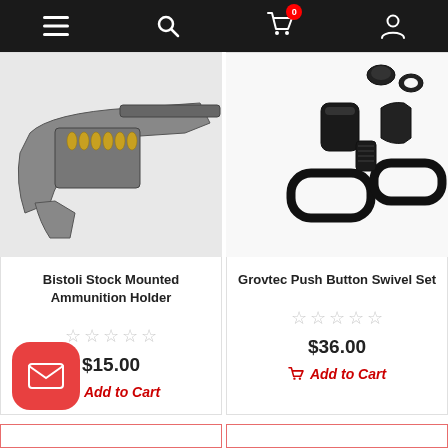Navigation bar with menu, search, cart (0 items), and account icons
[Figure (photo): Photo of a Bistoli Stock Mounted Ammunition Holder - a rifle stock with bullet loops holding ammunition]
Bistoli Stock Mounted Ammunition Holder
☆☆☆☆☆
$15.00
Add to Cart
[Figure (photo): Photo of Grovtec Push Button Swivel Set - black metal swivel components on white background]
Grovtec Push Button Swivel Set
☆☆☆☆☆
$36.00
Add to Cart